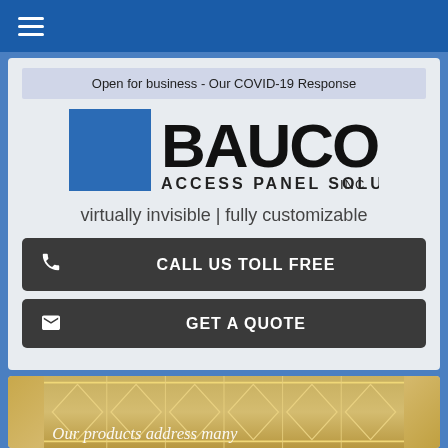Navigation bar with hamburger menu
Open for business - Our COVID-19 Response
[Figure (logo): BAUCO Access Panel Solutions Inc logo with blue square and bold black text]
virtually invisible | fully customizable
CALL US TOLL FREE
GET A QUOTE
[Figure (photo): Decorative ceiling with geometric diamond pattern and gold lighting elements, with text 'Our products address many']